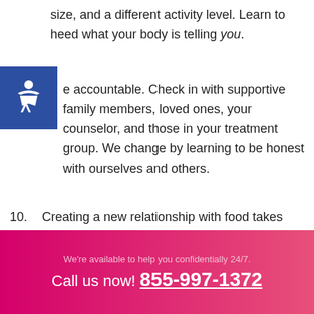size, and a different activity level. Learn to heed what your body is telling you.
Be accountable. Check in with supportive family members, loved ones, your counselor, and those in your treatment group. We change by learning to be honest with ourselves and others.
10. Creating a new relationship with food takes patience and practice, particularly for those with eating disorders. Give yourself permission to make mistakes without judging yourself. Be kind to yourself and remember: Unhealthy behaviors are learned over many years. It takes time to learn healthy new behaviors.
We're available to help you confidentially 24/7. Call us now! 855-997-1372